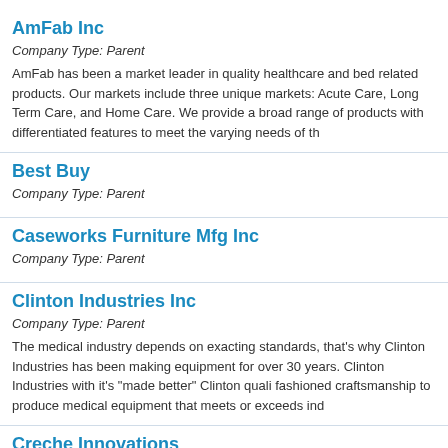AmFab Inc
Company Type: Parent
AmFab has been a market leader in quality healthcare and bed related products. Our markets include three unique markets: Acute Care, Long Term Care, and Home Care. We provide a broad range of products with differentiated features to meet the varying needs of th...
Best Buy
Company Type: Parent
Caseworks Furniture Mfg Inc
Company Type: Parent
Clinton Industries Inc
Company Type: Parent
The medical industry depends on exacting standards, that's why Clinton Industries has been making equipment for over 30 years. Clinton Industries with it's "made better" Clinton quality, uses old fashioned craftsmanship to produce medical equipment that meets or exceeds ind...
Creche Innovations
Company Type: Parent
Creche Innovations is a company dedicated to creating solutions for fragile infants...